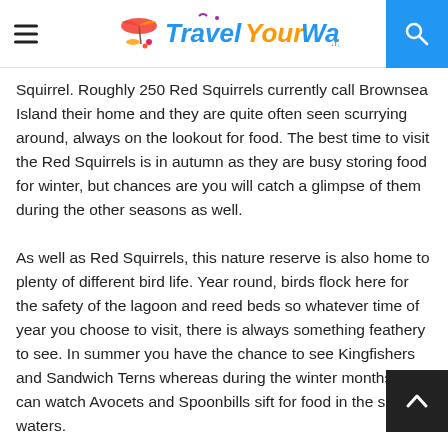Travel Your Way .net
Squirrel. Roughly 250 Red Squirrels currently call Brownsea Island their home and they are quite often seen scurrying around, always on the lookout for food. The best time to visit the Red Squirrels is in autumn as they are busy storing food for winter, but chances are you will catch a glimpse of them during the other seasons as well.
As well as Red Squirrels, this nature reserve is also home to plenty of different bird life. Year round, birds flock here for the safety of the lagoon and reed beds so whatever time of year you choose to visit, there is always something feathery to see. In summer you have the chance to see Kingfishers and Sandwich Terns whereas during the winter months you can watch Avocets and Spoonbills sift for food in the shallow waters.
Good to know: Brownsea Island is usually open from April to